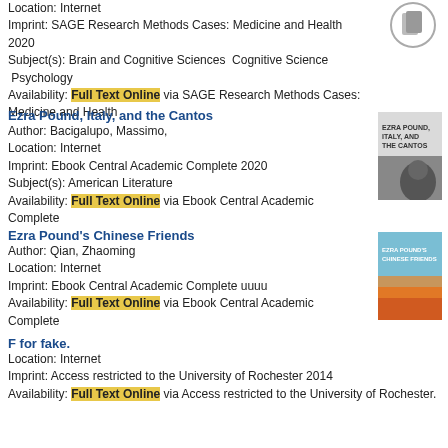Location: Internet
Imprint: SAGE Research Methods Cases: Medicine and Health 2020
Subject(s): Brain and Cognitive Sciences  Cognitive Science  Psychology
Availability: Full Text Online via SAGE Research Methods Cases: Medicine and Health
Ezra Pound, Italy, and the Cantos
Author: Bacigalupo, Massimo,
Location: Internet
Imprint: Ebook Central Academic Complete 2020
Subject(s): American Literature
Availability: Full Text Online via Ebook Central Academic Complete
[Figure (photo): Book cover for Ezra Pound, Italy, and the Cantos]
Ezra Pound's Chinese Friends
Author: Qian, Zhaoming
Location: Internet
Imprint: Ebook Central Academic Complete uuuu
Availability: Full Text Online via Ebook Central Academic Complete
[Figure (photo): Book cover for Ezra Pound's Chinese Friends]
F for fake.
Location: Internet
Imprint: Access restricted to the University of Rochester 2014
Availability: Full Text Online via Access restricted to the University of Rochester.